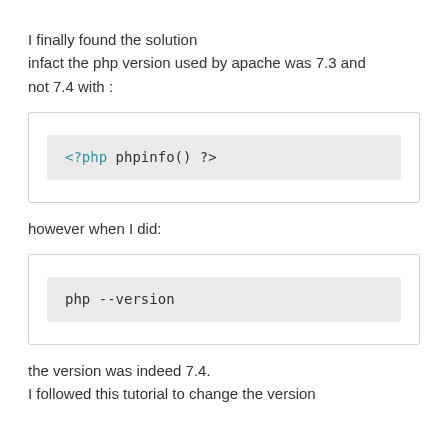I finally found the solution infact the php version used by apache was 7.3 and not 7.4 with :
[Figure (screenshot): Code box containing: <?php phpinfo() ?>]
however when I did:
[Figure (screenshot): Code box containing: php --version]
the version was indeed 7.4. I followed this tutorial to change the version